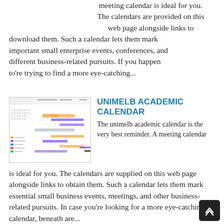meeting calendar is ideal for you. The calendars are provided on this web page alongside links to download them. Such a calendar lets them mark important small enterprise events, conferences, and different business-related pursuits. If you happen to're trying to find a more eye-catching...
[Figure (screenshot): Screenshot of a calendar application showing a weekly view with colored event bars in orange, purple, and blue.]
UNIMELB ACADEMIC CALENDAR
The unimelb academic calendar is the very best reminder. A meeting calendar is ideal for you. The calendars are supplied on this web page alongside links to obtain them. Such a calendar lets them mark essential small business events, meetings, and other business-related pursuits. In case you're looking for a more eye-catching calendar, beneath are...